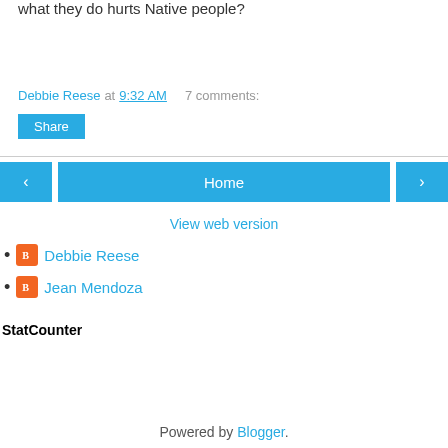what they do hurts Native people?
Debbie Reese at 9:32 AM   7 comments:
Share
‹  Home  ›
View web version
Debbie Reese
Jean Mendoza
StatCounter
Powered by Blogger.